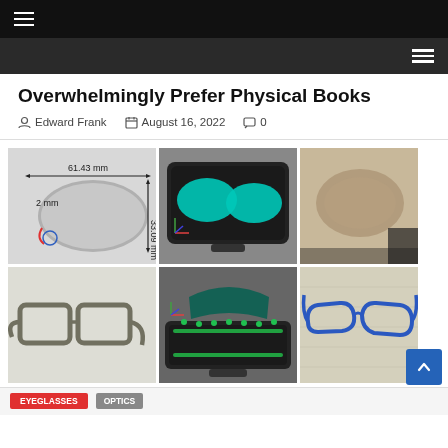Navigation bar (top, dark)
Navigation bar (bottom, grey)
Overwhelmingly Prefer Physical Books
Edward Frank   August 16, 2022   0
[Figure (photo): Six-panel image grid showing: (1) engineering diagram of a lens with dimensions 61.43mm x 33.09mm x 2mm, (2) 3D render of a tablet-like device with two cyan lens shapes, (3) photo close-up of a lens mold, (4) 3D render of olive-colored eyeglass frames, (5) 3D render of eyeglass frames in a mold/assembly, (6) photo of blue-framed glasses on fabric.]
Tags / category buttons at bottom